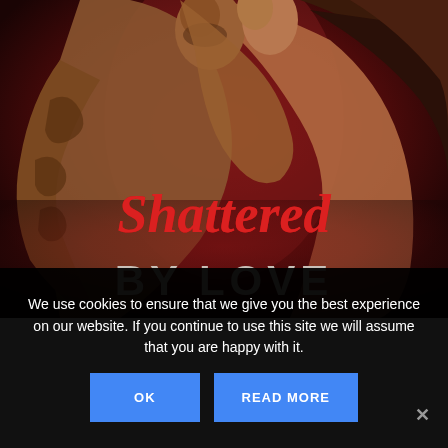[Figure (illustration): Book cover for 'Shattered BY LOVE' showing two people kissing/embracing. A tattooed shirtless man and a woman with dark hair. Title text 'Shattered' in red cursive script and 'BY LOVE' in bold silver/white capital letters on a dark red background.]
We use cookies to ensure that we give you the best experience on our website. If you continue to use this site we will assume that you are happy with it.